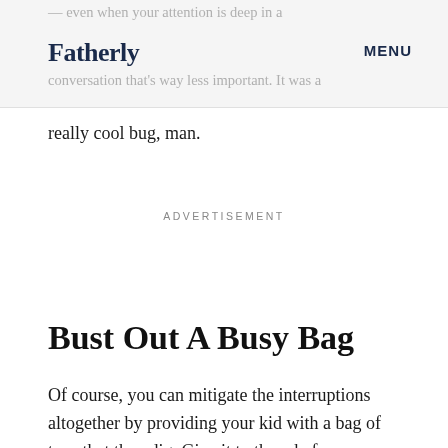Fatherly  MENU
— even when your attention is deep in a conversation that's way less important. It was a really cool bug, man.
ADVERTISEMENT
Bust Out A Busy Bag
Of course, you can mitigate the interruptions altogether by providing your kid with a bag of toys that they dig. Give it to them before company arrives, or before you make the phone call. Be sure and